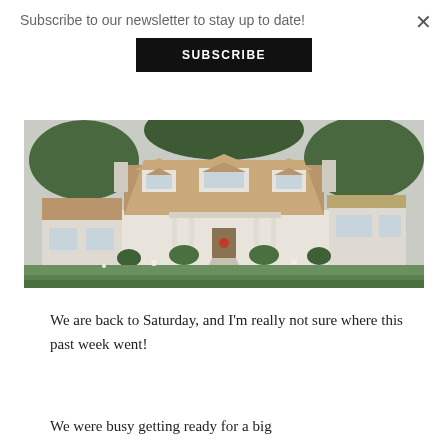Subscribe to our newsletter to stay up to date!
SUBSCRIBE
[Figure (photo): Exterior photo of a large white traditional/colonial style house with brown/tan shingle roof, dormer windows, front porch with columns, and lush green landscaping]
We are back to Saturday, and I'm really not sure where this past week went!
We were busy getting ready for a big